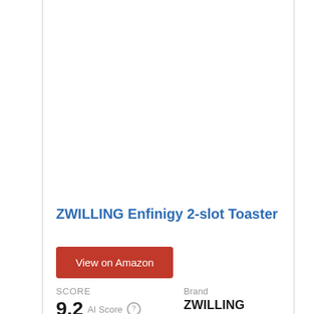ZWILLING Enfinigy 2-slot Toaster
View on Amazon
SCORE
9.2 AI Score
Brand
ZWILLING